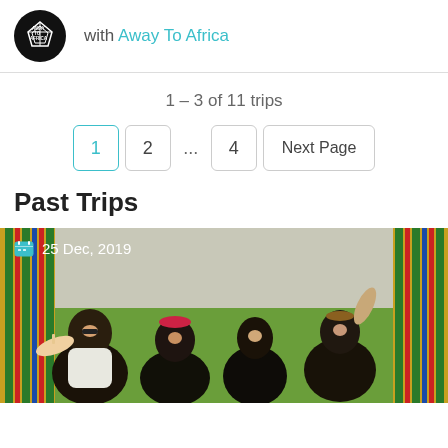with Away To Africa
1 – 3 of 11 trips
[Figure (screenshot): Pagination controls showing pages 1 (active, teal border), 2, ..., 4, and Next Page button]
Past Trips
[Figure (photo): Photo of a group of women at an outdoor festival, with colorful kente cloth tent behind them. A date badge shows 25 Dec, 2019 in the top left.]